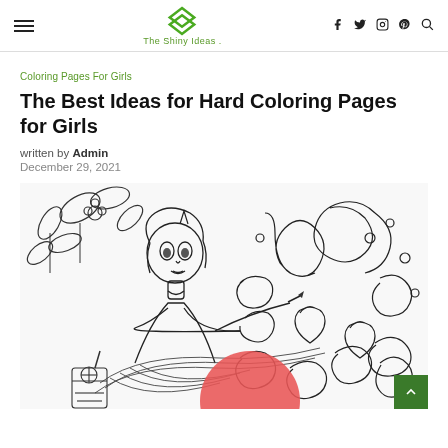The Shiny Ideas — navigation header with hamburger menu, logo, social icons (facebook, twitter, instagram, pinterest), and search
Coloring Pages For Girls
The Best Ideas for Hard Coloring Pages for Girls
written by Admin
December 29, 2021
[Figure (illustration): A coloring page illustration showing an anime-style girl with a horn drawing or painting, surrounded by decorative doodle patterns with swirls, hearts, and floral elements on the right, and leaves/flowers on the upper left. A lemon drink is visible in the lower left. A red circular shape appears in the lower center. Black and white line art style.]